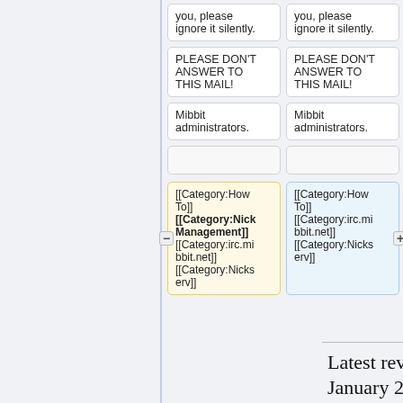you, please ignore it silently.
you, please ignore it silently.
PLEASE DON'T ANSWER TO THIS MAIL!
PLEASE DON'T ANSWER TO THIS MAIL!
Mibbit administrators.
Mibbit administrators.
[[Category:How To]]
[[Category:Nick Management]]
[[Category:irc.mibbit.net]]
[[Category:Nickserv]]
[[Category:How To]]
[[Category:irc.mibbit.net]]
[[Category:Nickserv]]
Latest revision as of 08:55, 26 January 2016